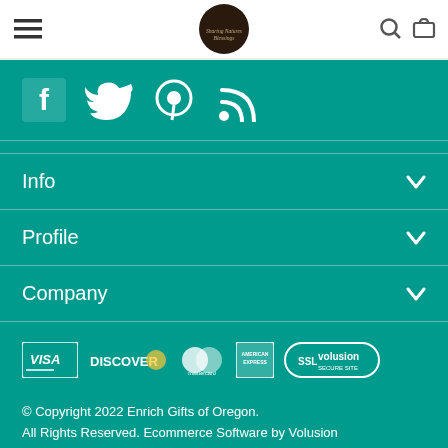[Figure (screenshot): Website header with hamburger menu icon, circular logo with text 'Sharing Natures Blessings', search icon, and cart icon on white background]
[Figure (infographic): Social media icons: Facebook, Twitter, Pinterest, RSS feed — white icons on teal background]
Info
Profile
Company
[Figure (infographic): Payment method logos: Visa, Discover, Mastercard, American Express, SSL Volusion Secure Site]
© Copyright 2022 Enrich Gifts of Oregon.
All Rights Reserved. Ecommerce Software by Volusion